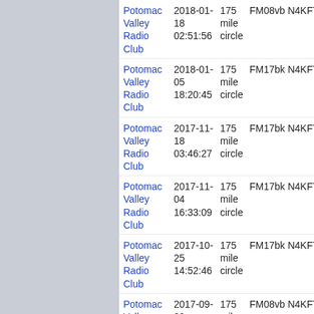Potomac Valley Radio Club | 2018-01-18 02:51:56 | 175 mile circle | FM08vb N4KFT
Potomac Valley Radio Club | 2018-01-05 18:20:45 | 175 mile circle | FM17bk N4KFT
Potomac Valley Radio Club | 2017-11-18 03:46:27 | 175 mile circle | FM17bk N4KFT
Potomac Valley Radio Club | 2017-11-04 16:33:09 | 175 mile circle | FM17bk N4KFT
Potomac Valley Radio Club | 2017-10-25 14:52:46 | 175 mile circle | FM17bk N4KFT
Potomac Valley Radio Club | 2017-09-09 11:16:54 | 175 mile circle | FM08vb N4KFT
Potomac Valley Radio Club | 2017-06-03 | 175 mile circle | FM08vb N4KFT